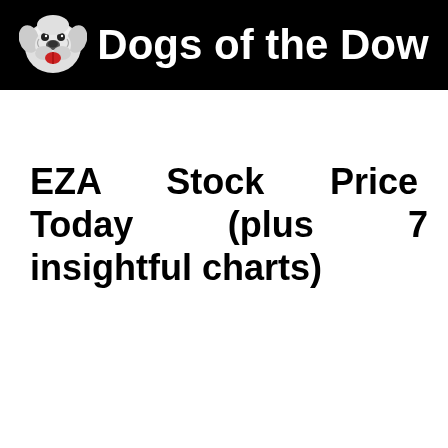Dogs of the Dow
EZA Stock Price Today (plus 7 insightful charts)